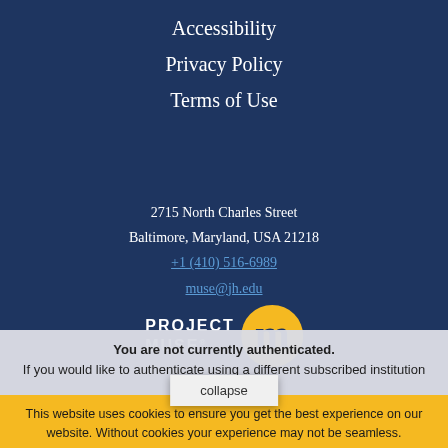Accessibility
Privacy Policy
Terms of Use
2715 North Charles Street
Baltimore, Maryland, USA 21218
+1 (410) 516-6989
muse@jh.edu
[Figure (logo): Project MUSE logo with yellow circle containing letter m]
collapse
You are not currently authenticated.
If you would like to authenticate using a different subscribed institution or
This website uses cookies to ensure you get the best experience on our website. Without cookies your experience may not be seamless.
Accept